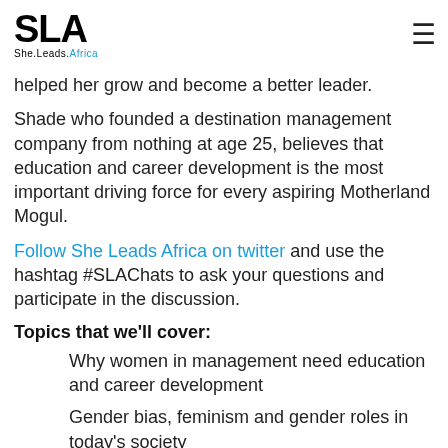SLA She.Leads.Africa
helped her grow and become a better leader.
Shade who founded a destination management company from nothing at age 25, believes that education and career development is the most important driving force for every aspiring Motherland Mogul.
Follow She Leads Africa on twitter and use the hashtag #SLAChats to ask your questions and participate in the discussion.
Topics that we'll cover:
Why women in management need education and career development
Gender bias, feminism and gender roles in today's society